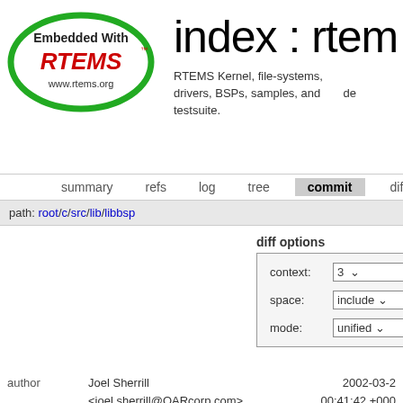[Figure (logo): RTEMS logo oval with green border, text 'Embedded With RTEMS' and www.rtems.org]
index : rtems master
RTEMS Kernel, file-systems, drivers, BSPs, samples, and testsuite. de…
summary  refs  log  tree  commit  diff  stats  lo…
path: root/c/src/lib/libbsp
diff options
context: 3
space: include
mode: unified
author    Joel Sherrill <joel.sherrill@OARcorp.com>    2002-03-2 00:41:42 +000
committer    Joel Sherrill <joel.sherrill@OARcorp.com>    2002-03-2 00:41:42 +000
commit    d521eaa95c16552af12bcead9bee47d3327c255f (patch)
tree    fbb9207cf3f26d4fea96c1baef631974bd3662fb /c/src/lib/libbsp